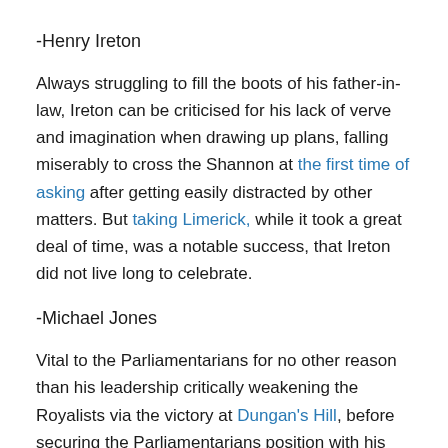-Henry Ireton
Always struggling to fill the boots of his father-in-law, Ireton can be criticised for his lack of verve and imagination when drawing up plans, falling miserably to cross the Shannon at the first time of asking after getting easily distracted by other matters. But taking Limerick, while it took a great deal of time, was a notable success, that Ireton did not live long to celebrate.
-Michael Jones
Vital to the Parliamentarians for no other reason than his leadership critically weakening the Royalists via the victory at Dungan's Hill, before securing the Parliamentarians position with his victory at Rathmines. His premature death on campaign has resulted, perhaps, in his under